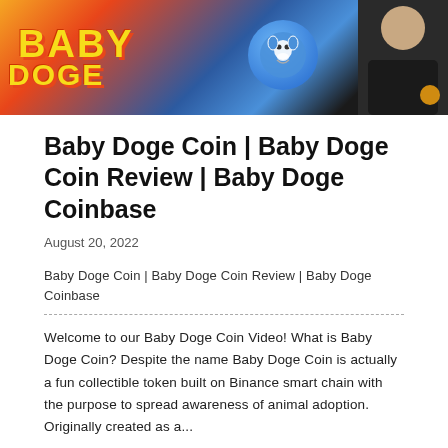[Figure (photo): Hero image showing 'BABY DOGE' text in yellow with red shadow on a colorful background, a blue round mascot logo, and a person in a dark shirt on the right side]
Baby Doge Coin | Baby Doge Coin Review | Baby Doge Coinbase
August 20, 2022
Baby Doge Coin | Baby Doge Coin Review | Baby Doge Coinbase
Welcome to our Baby Doge Coin Video! What is Baby Doge Coin? Despite the name Baby Doge Coin is actually a fun collectible token built on Binance smart chain with the purpose to spread awareness of animal adoption. Originally created as a...